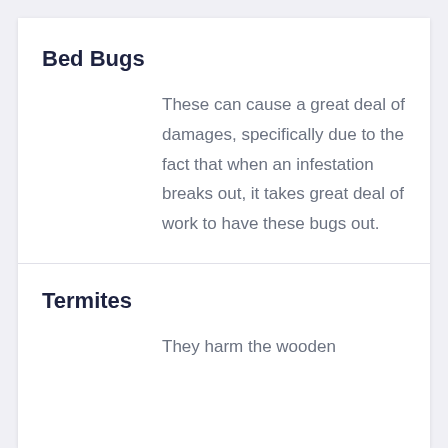Bed Bugs
These can cause a great deal of damages, specifically due to the fact that when an infestation breaks out, it takes great deal of work to have these bugs out.
Termites
They harm the wooden